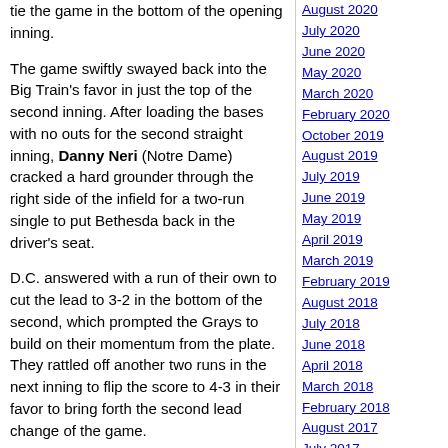tie the game in the bottom of the opening inning.
The game swiftly swayed back into the Big Train's favor in just the top of the second inning. After loading the bases with no outs for the second straight inning, Danny Neri (Notre Dame) cracked a hard grounder through the right side of the infield for a two-run single to put Bethesda back in the driver's seat.
D.C. answered with a run of their own to cut the lead to 3-2 in the bottom of the second, which prompted the Grays to build on their momentum from the plate. They rattled off another two runs in the next inning to flip the score to 4-3 in their favor to bring forth the second lead change of the game.
Pitcher Ryan Lynch (UNotre Dame) stunted the Grays' offense with a hitless inning in bottom of the fourth, which marked the first time all game that D.C. wasn't able to come away with a run in an individual inning.
The Big Train's bats were silenced for the third straight inning in the top of the fifth then the Grays' offense went right back to work to extend their lead late in the game. D.C.
August 2020
July 2020
June 2020
May 2020
March 2020
February 2020
October 2019
August 2019
July 2019
June 2019
May 2019
April 2019
March 2019
February 2019
August 2018
July 2018
June 2018
April 2018
March 2018
February 2018
August 2017
July 2017
June 2017
May 2017
April 2017
March 2017
February 2017
November 2016
September